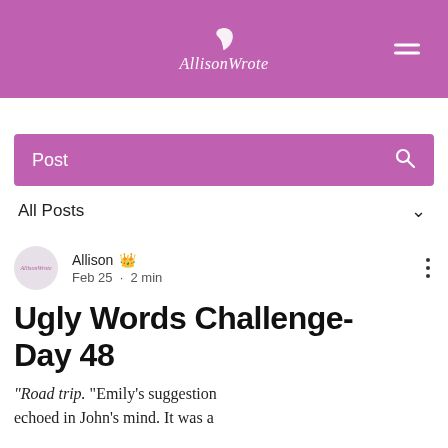AllisonWrote
Post
All Posts
Allison · Feb 25 · 2 min
Ugly Words Challenge- Day 48
"Road trip. "Emily's suggestion echoed in John's mind. It was a